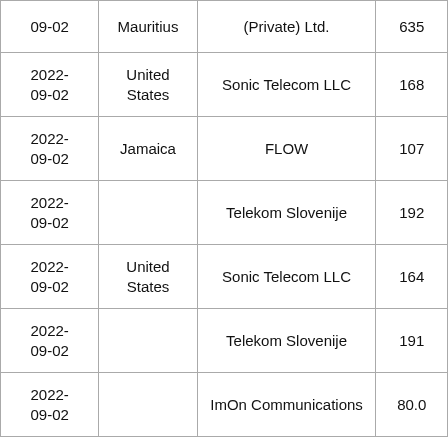| 09-02 | Mauritius | (Private) Ltd. | 635 |
| 2022-
09-02 | United States | Sonic Telecom LLC | 168 |
| 2022-
09-02 | Jamaica | FLOW | 107 |
| 2022-
09-02 |  | Telekom Slovenije | 192 |
| 2022-
09-02 | United States | Sonic Telecom LLC | 164 |
| 2022-
09-02 |  | Telekom Slovenije | 191 |
| 2022-
09-02 |  | ImOn Communications | 80.0 |